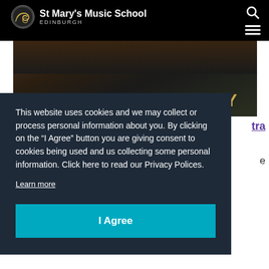St Mary's Music School EDINBURGH
[Figure (photo): SCO Wind Academy banner image showing musicians with text 'SCO WIND ACADEMY' in gold bold letters on dark background]
tra
e
This website uses cookies and we may collect or process personal information about you. By clicking on the “I Agree” button you are giving consent to cookies being used and us collecting some personal information. Click here to read our Privacy Polices.
Learn more
I Agree